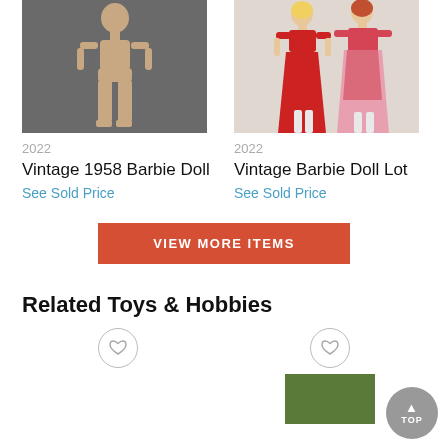[Figure (photo): Product photo of a nude vintage Barbie doll body against gray background]
2022
Vintage 1958 Barbie Doll
See Sold Price
[Figure (photo): Product photo of vintage Barbie dolls in red and pink gowns]
2022
Vintage Barbie Doll Lot
See Sold Price
VIEW MORE ITEMS
Related Toys & Hobbies
[Figure (photo): Related toy item thumbnail with heart/favorite button]
[Figure (photo): Related toy item thumbnail (green background) with heart/favorite button]